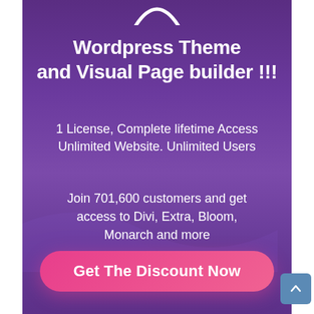[Figure (illustration): Partial white arc/logo shape visible at the very top center of the purple banner]
Wordpress Theme and Visual Page builder !!!
1 License, Complete lifetime Access Unlimited Website. Unlimited Users
Join 701,600 customers and get access to Divi, Extra, Bloom, Monarch and more
[Figure (illustration): Pink rounded rectangle button labeled 'Get The Discount Now']